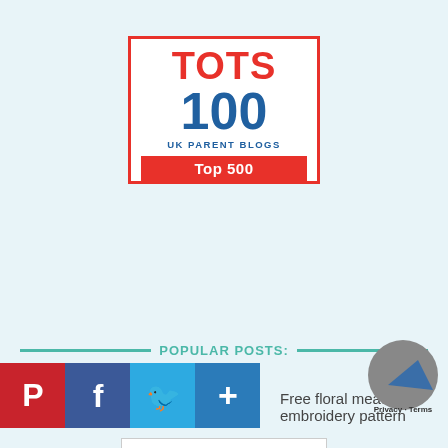[Figure (logo): TOTS 100 UK Parent Blogs Top 500 badge with red border and red/blue text on white background]
[Figure (logo): BritMums Blog with Integrity badge showing pink and teal speech bubbles with white text, and dotted curve underline]
POPULAR POSTS:
[Figure (infographic): Social media icons row: Pinterest (red P), Facebook (blue f), Twitter (blue bird), Plus (blue +)]
Free floral meadow embroidery pattern